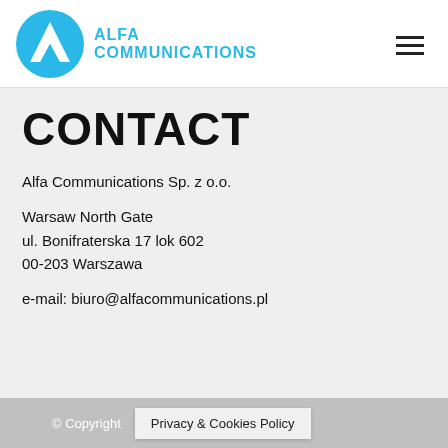Alfa Communications
CONTACT
Alfa Communications Sp. z o.o.
Warsaw North Gate
ul. Bonifraterska 17 lok 602
00-203 Warszawa
e-mail: biuro@alfacommunications.pl
© Copyright  Privacy & Cookies Policy